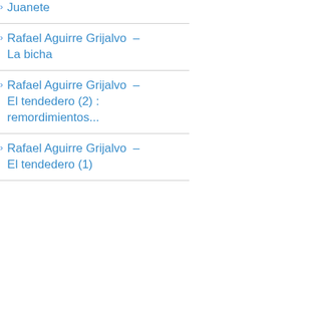Juanete
Rafael Aguirre Grijalvo – La bicha
Rafael Aguirre Grijalvo – El tendedero (2) : remordimientos...
Rafael Aguirre Grijalvo – El tendedero (1)